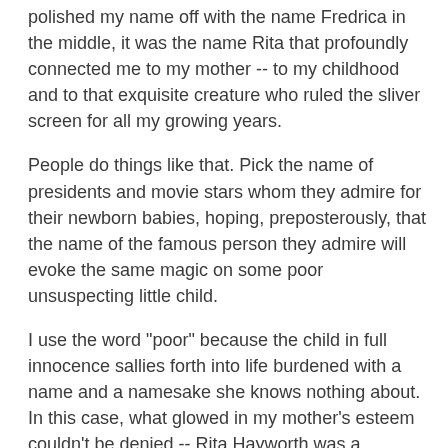polished my name off with the name Fredrica in the middle, it was the name Rita that profoundly connected me to my mother -- to my childhood and to that exquisite creature who ruled the sliver screen for all my growing years.
People do things like that. Pick the name of presidents and movie stars whom they admire for their newborn babies, hoping, preposterously, that the name of the famous person they admire will evoke the same magic on some poor unsuspecting little child.
I use the word "poor" because the child in full innocence sallies forth into life burdened with a name and a namesake she knows nothing about. In this case, what glowed in my mother's esteem couldn't be denied -- Rita Hayworth was a goddess, worshiped by men and women alike. She was the quintessential pin-up girl of World War II. She was the epitome of glamour and elegance. One of her five husbands was a prince and the others were iconic movie stars themselves. She had everything -- she was gorgeous; she had astounding beauty. She had children and wealth and jewels and clothes and incredible fame so that all-in-all she